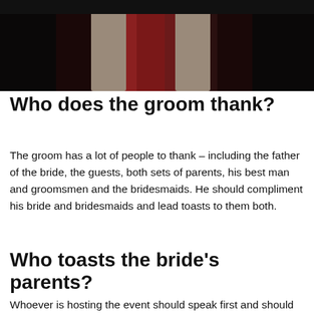[Figure (photo): Dark image showing a person wearing a red/burgundy garment and a light-colored jacket or coat, against a dark background.]
Who does the groom thank?
The groom has a lot of people to thank – including the father of the bride, the guests, both sets of parents, his best man and groomsmen and the bridesmaids. He should compliment his bride and bridesmaids and lead toasts to them both.
Who toasts the bride's parents?
Whoever is hosting the event should speak first and should take the microphone as soon as guests have found their seats. This first